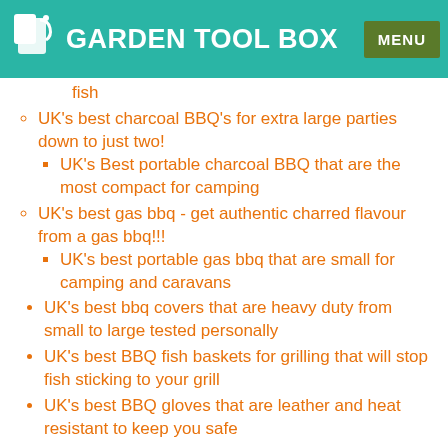GARDEN TOOL BOX | MENU
fish
UK's best charcoal BBQ's for extra large parties down to just two!
UK's Best portable charcoal BBQ that are the most compact for camping
UK's best gas bbq - get authentic charred flavour from a gas bbq!!!
UK's best portable gas bbq that are small for camping and caravans
UK's best bbq covers that are heavy duty from small to large tested personally
UK's best BBQ fish baskets for grilling that will stop fish sticking to your grill
UK's best BBQ gloves that are leather and heat resistant to keep you safe
UK's best bbq starter chimneys that start charcoal